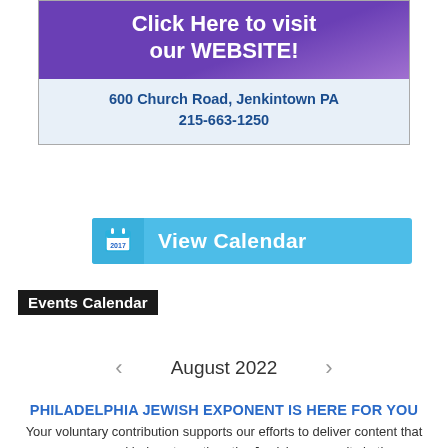[Figure (infographic): Advertisement box with purple banner reading 'Click Here to visit our WEBSITE!' and address '600 Church Road, Jenkintown PA 215-663-1250']
[Figure (infographic): Blue 'View Calendar' button with calendar icon]
Events Calendar
< August 2022 >
PHILADELPHIA JEWISH EXPONENT IS HERE FOR YOU
Your voluntary contribution supports our efforts to deliver content that engages and helps strengthen the Jewish community in the Philadelphia area.
CONTRIBUTE